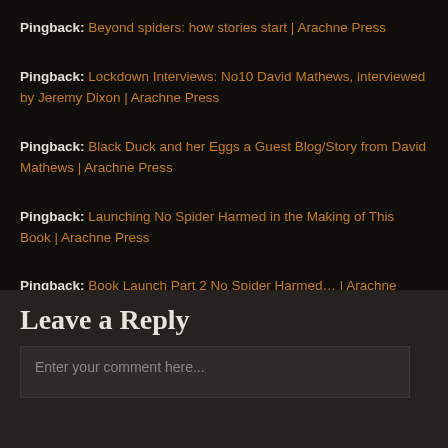Pingback: Beyond spiders: how stories start | Arachne Press
Pingback: Lockdown Interviews: No10 David Mathews, interviewed by Jeremy Dixon | Arachne Press
Pingback: Black Duck and her Eggs a Guest Blog/Story from David Mathews | Arachne Press
Pingback: Launching No Spider Harmed in the Making of This Book | Arachne Press
Pingback: Book Launch Part 2 No Spider Harmed… | Arachne Press
Leave a Reply
Enter your comment here...